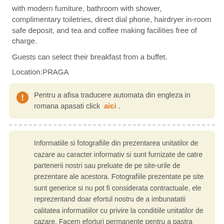with modern furniture, bathroom with shower, complimentary toiletries, direct dial phone, hairdryer in-room safe deposit, and tea and coffee making facilities free of charge.
Guests can select their breakfast from a buffet.
Location:PRAGA
Pentru a afisa traducere automata din engleza in romana apasati click aici .
Informatiile si fotografiile din prezentarea unitatilor de cazare au caracter informativ si sunt furnizate de catre partenerii nostri sau preluate de pe site-urile de prezentare ale acestora. Fotografiile prezentate pe site sunt generice si nu pot fi considerata contractuale, ele reprezentand doar efortul nostru de a imbunatatii calitatea informatiilor cu privire la conditiile unitatilor de cazare. Facem eforturi permanente pentru a pastra acuratetea si actualitatea informatiilor, insa nu garantam ca informatiile sunt complete, actualizate sau nu contin